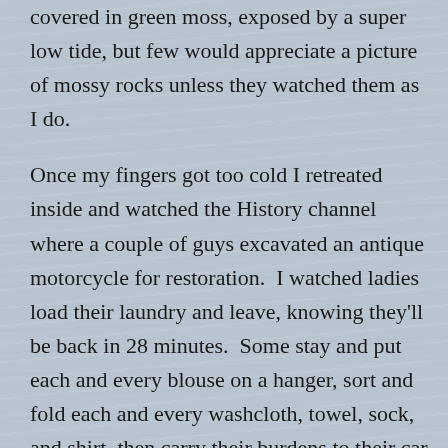covered in green moss, exposed by a super low tide, but few would appreciate a picture of mossy rocks unless they watched them as I do.

Once my fingers got too cold I retreated inside and watched the History channel where a couple of guys excavated an antique motorcycle for restoration.  I watched ladies load their laundry and leave, knowing they'll be back in 28 minutes.  Some stay and put each and every blouse on a hanger, sort and fold each and every washcloth, towel, sock, and shirt, then carry their burdens to their car alone.